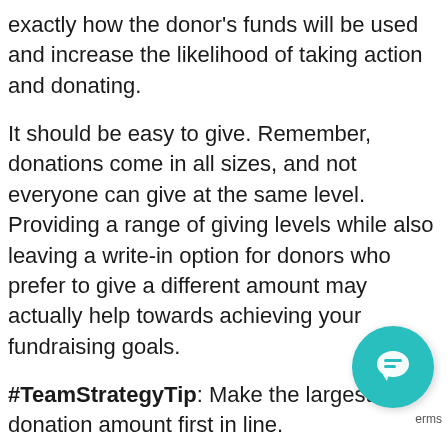exactly how the donor's funds will be used and increase the likelihood of taking action and donating.
It should be easy to give. Remember, donations come in all sizes, and not everyone can give at the same level. Providing a range of giving levels while also leaving a write-in option for donors who prefer to give a different amount may actually help towards achieving your fundraising goals.
#TeamStrategyTip: Make the largest donation amount first in line.
5. Say “Thank you” to Everyone
Say thank you! Donors want to know that they made a difference – that’s why they donate. A personalized le… video thanking and recognizing donors for their contrib… no matter how small, go a long way in building a positive…